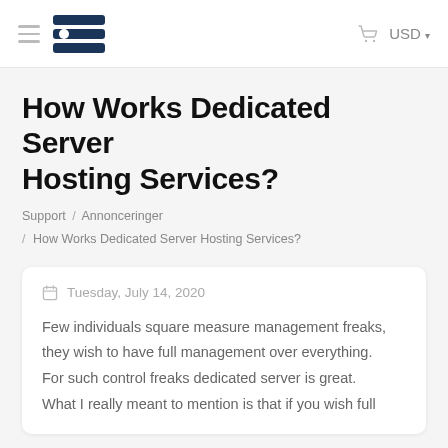USD
How Works Dedicated Server Hosting Services?
Support / Annonceringer / How Works Dedicated Server Hosting Services?
Tuesday, July 14, 2020
Few individuals square measure management freaks, they wish to have full management over everything. For such control freaks dedicated server is great. What I really meant to mention is that if you wish full